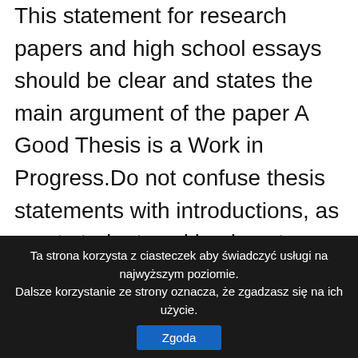This statement for research papers and high school essays should be clear and states the main argument of the paper A Good Thesis is a Work in Progress.Do not confuse thesis statements with introductions, as most students asking how to start an essay do!Write a strong opening sentence capturing readers' attention.Published on January 11, 2019 by Shona McCombes.Writing a Thesis Statement Now that you have considered the sources, refer back to the tentative position you wrote after analyzing the prompt.Do you now have specific reasons to support the position you took?A good thesis statement can be the difference between an A and a B.Then, write 2-3 main body paragraphs, discussing in each a single area of
Ta strona korzysta z ciasteczek aby świadczyć usługi na najwyższym poziomie. Dalsze korzystanie ze strony oznacza, że zgadzasz się na ich użycie.